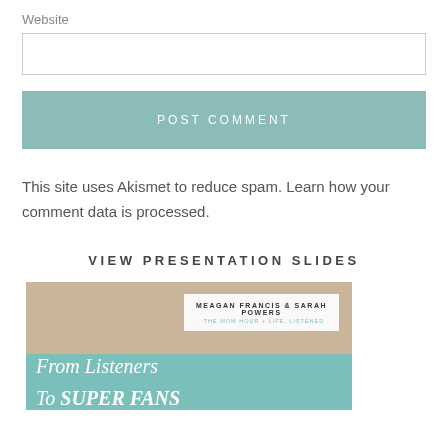Website
POST COMMENT
This site uses Akismet to reduce spam. Learn how your comment data is processed.
VIEW PRESENTATION SLIDES
[Figure (illustration): Presentation slide cover image showing hands holding earbuds over a brick background. Top half is a photo; bottom half is teal with italic serif text 'From Listeners To SUPER FANS'. An overlaid white card reads 'MEAGAN FRANCIS & SARAH POWERS · THE MOM HOUR + LIFE, LISTENED'.]